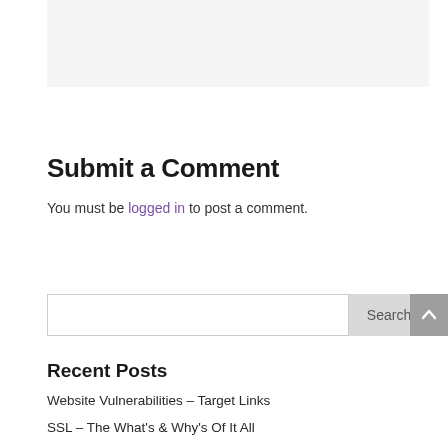[Figure (other): Light gray placeholder box at the top of the page]
Submit a Comment
You must be logged in to post a comment.
[Figure (other): Search bar with Search button and scroll-to-top arrow button]
Recent Posts
Website Vulnerabilities – Target Links
SSL – The What's & Why's Of It All